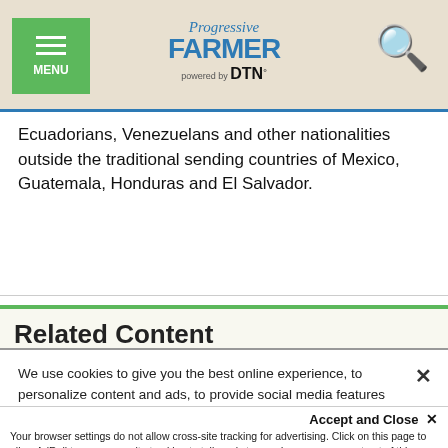Progressive Farmer powered by DTN — MENU / Search
Ecuadorians, Venezuelans and other nationalities outside the traditional sending countries of Mexico, Guatemala, Honduras and El Salvador.
Related Content
We use cookies to give you the best online experience, to personalize content and ads, to provide social media features and to analyze traffic. By clicking 'Accept All Cookies' you will allow the use of these cookies. Your settings can be changed, including withdrawing your consent at any time, by clicking 'Cookie Settings'. Find out more on how we and third parties use cookies in our Cookie Policy
Accept and Close ✕
Your browser settings do not allow cross-site tracking for advertising. Click on this page to allow AdRoll to use cross-site tracking to tailor ads to you. Learn more or opt out of this AdRoll tracking by clicking here. This message only appears once.